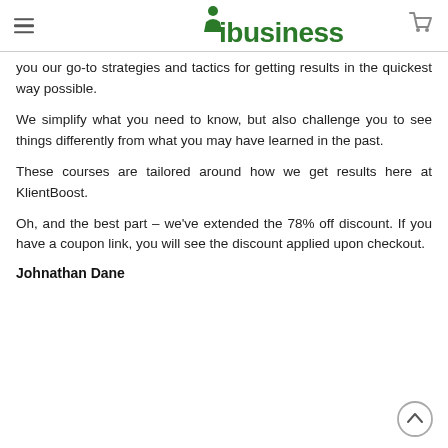ibusiness
you our go-to strategies and tactics for getting results in the quickest way possible.
We simplify what you need to know, but also challenge you to see things differently from what you may have learned in the past.
These courses are tailored around how we get results here at KlientBoost.
Oh, and the best part – we've extended the 78% off discount. If you have a coupon link, you will see the discount applied upon checkout.
Johnathan Dane